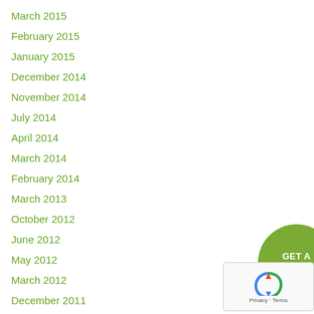March 2015
February 2015
January 2015
December 2014
November 2014
July 2014
April 2014
March 2014
February 2014
March 2013
October 2012
June 2012
May 2012
March 2012
December 2011
[Figure (other): Green rounded button with text GET A QUOTE]
[Figure (other): reCAPTCHA widget with privacy and terms text]